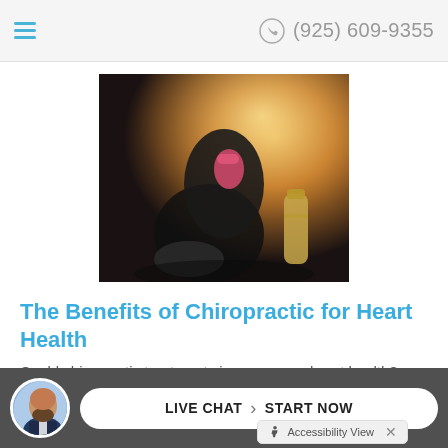(925) 609-9355
[Figure (photo): A person in athletic wear tying their shoe, with a water bottle in the background, warm sunlight lighting]
The Benefits of Chiropractic for Heart Health
Could chiropractic treatments improve your heart health? ...
Read More
[Figure (photo): Avatar photo of a bald man with a beard in a suit, circular crop]
LIVE CHAT  START NOW
Accessibility View